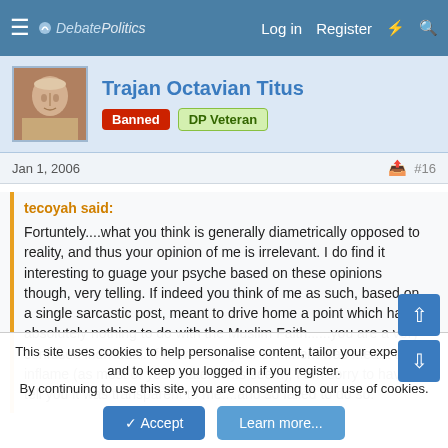DebatePolitics — Log in  Register
Trajan Octavian Titus
Banned  DP Veteran
Jan 1, 2006  #16
tecoyah said:
Fortuntely....what you think is generally diametrically opposed to reality, and thus your opinion of me is irrelevant. I do find it interesting to guage your psyche based on these opinions though, very telling. If indeed you think of me as such, based on a single sarcastic post, meant to drive home a point which has absolutely nothing to do with the Muslim Faith......you are a very confused individual. If however....your comment was meant to inflame (as most of your statements seem), I am sorry to have to tell you it was transparent to me....and so failed to do so.
This site uses cookies to help personalise content, tailor your experience and to keep you logged in if you register. By continuing to use this site, you are consenting to our use of cookies.